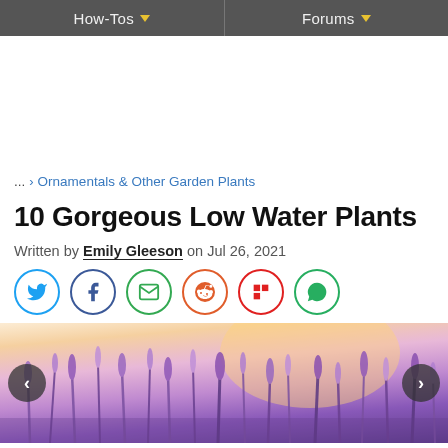How-Tos  ▼    Forums  ▼
... > Ornamentals & Other Garden Plants
10 Gorgeous Low Water Plants
Written by Emily Gleeson on Jul 26, 2021
[Figure (other): Social sharing icons: Twitter, Facebook, Email, Reddit, Flipboard, WhatsApp]
[Figure (photo): Hero photo of a lavender field at sunset with purple flowers against a warm glowing sky, with left and right navigation arrows overlaid]